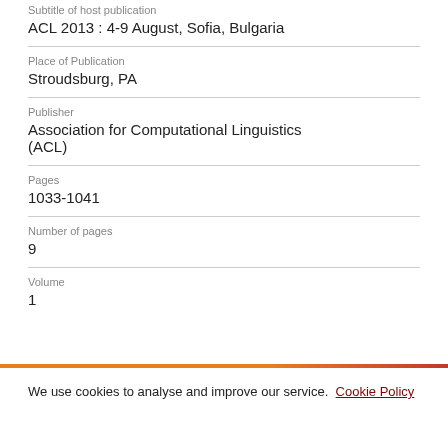Subtitle of host publication
ACL 2013 : 4-9 August, Sofia, Bulgaria
Place of Publication
Stroudsburg, PA
Publisher
Association for Computational Linguistics (ACL)
Pages
1033-1041
Number of pages
9
Volume
We use cookies to analyse and improve our service. Cookie Policy